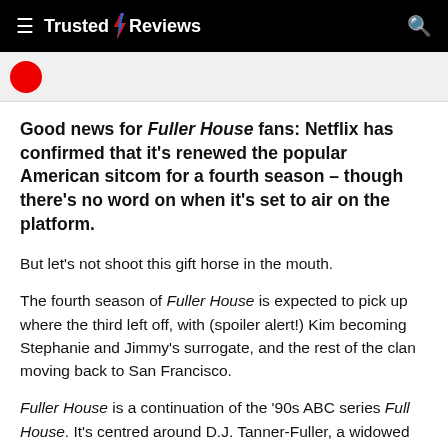≡ Trusted Reviews 🔍
Good news for Fuller House fans: Netflix has confirmed that it's renewed the popular American sitcom for a fourth season – though there's no word on when it's set to air on the platform.
But let's not shoot this gift horse in the mouth.
The fourth season of Fuller House is expected to pick up where the third left off, with (spoiler alert!) Kim becoming Stephanie and Jimmy's surrogate, and the rest of the clan moving back to San Francisco.
Fuller House is a continuation of the '90s ABC series Full House. It's centred around D.J. Tanner-Fuller, a widowed mother, who lives with her three sons, sister Stephanie and